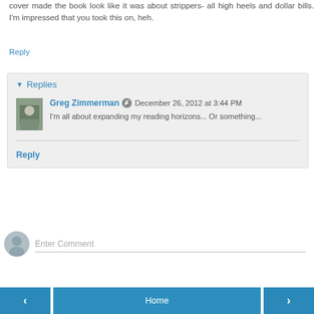cover made the book look like it was about strippers- all high heels and dollar bills. I'm impressed that you took this on, heh.
Reply
Replies
Greg Zimmerman  December 26, 2012 at 3:44 PM
I'm all about expanding my reading horizons... Or something...
Reply
Enter Comment
< Home >